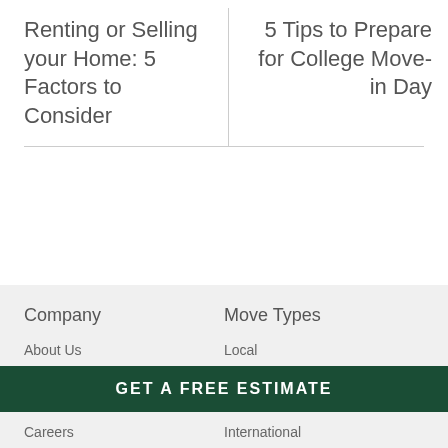Renting or Selling your Home: 5 Factors to Consider
5 Tips to Prepare for College Move-in Day
Company
Move Types
About Us
Local
GET A FREE ESTIMATE
Careers
International